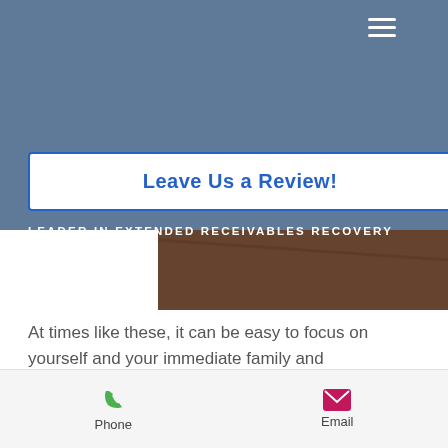LEADER IN EXTENDED RECEIVABLES RECOVERY
[Figure (photo): Two hands holding a red heart on a wooden table background, visible in upper right area of page]
Leave Us a Review!
LEADER IN EXTENDED RECEIVABLES RECOVERY
At times like these, it can be easy to focus on yourself and your immediate family and surroundings. In the middle of a global pandemic, making sure that you and your loved ones are safe is the most important priority. Most
Phone  Email